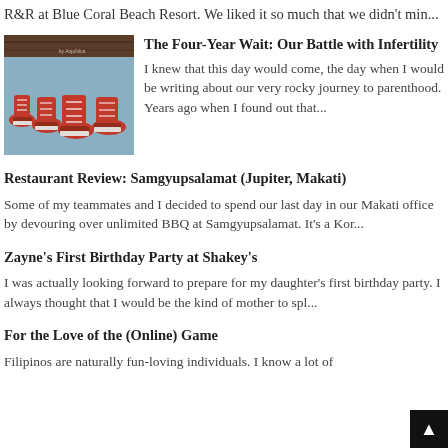R&R at Blue Coral Beach Resort. We liked it so much that we didn't min...
The Four-Year Wait: Our Battle with Infertility
[Figure (photo): Photo of red Converse sneakers arranged in a row on a blue surface]
I knew that this day would come, the day when I would be writing about our very rocky journey to parenthood. Years ago when I found out that...
Restaurant Review: Samgyupsalamat (Jupiter, Makati)
Some of my teammates and I decided to spend our last day in our Makati office by devouring over unlimited BBQ at Samgyupsalamat. It's a Kor...
Zayne's First Birthday Party at Shakey's
I was actually looking forward to prepare for my daughter's first birthday party. I always thought that I would be the kind of mother to spl...
For the Love of the (Online) Game
Filipinos are naturally fun-loving individuals. I know a lot of...